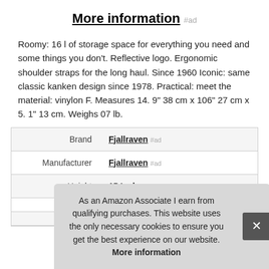More information #ad
Roomy: 16 l of storage space for everything you need and some things you don't. Reflective logo. Ergonomic shoulder straps for the long haul. Since 1960 Iconic: same classic kanken design since 1978. Practical: meet the material: vinylon F. Measures 14. 9" 38 cm x 106" 27 cm x 5. 1" 13 cm. Weighs 07 lb.
| Label | Value |
| --- | --- |
| Brand | Fjallraven #ad |
| Manufacturer | Fjallraven #ad |
| Height | 15 Inches |
As an Amazon Associate I earn from qualifying purchases. This website uses the only necessary cookies to ensure you get the best experience on our website. More information